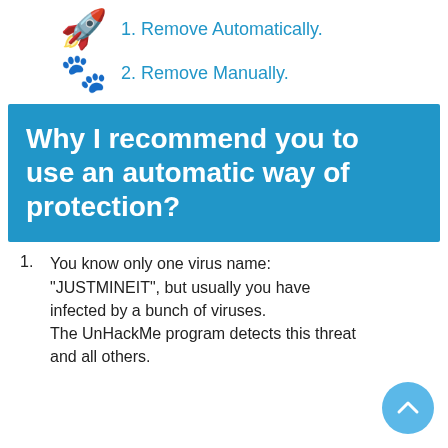1. Remove Automatically.
2. Remove Manually.
Why I recommend you to use an automatic way of protection?
1. You know only one virus name: "JUSTMINEIT", but usually you have infected by a bunch of viruses. The UnHackMe program detects this threat and all others.